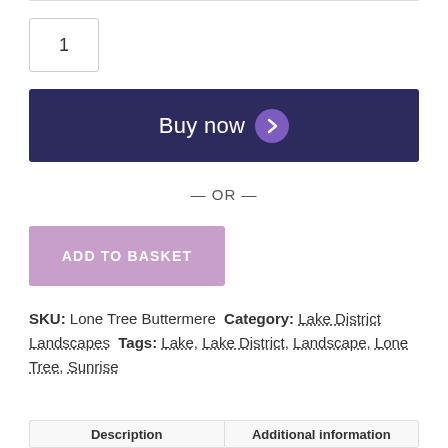1
Buy now
— OR —
ADD TO BASKET
SKU: Lone Tree Buttermere Category: Lake District Landscapes Tags: Lake, Lake District, Landscape, Lone Tree, Sunrise
Description | Additional information